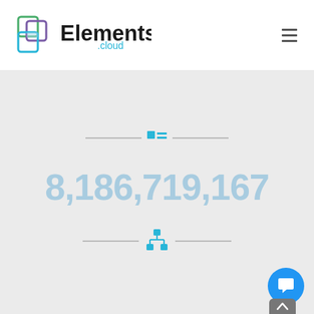[Figure (logo): Elements.cloud logo with overlapping colored squares icon and bold text 'Elements .cloud']
8,186,719,167